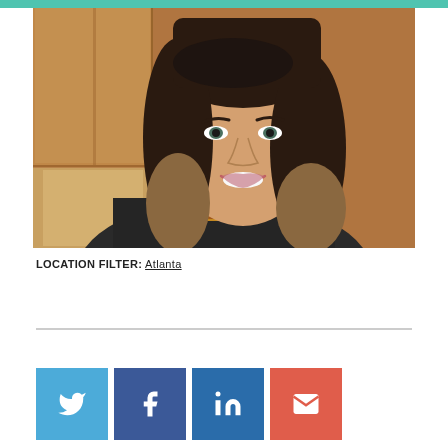[Figure (photo): Portrait photo of a smiling woman with dark brown/blonde ombre hair, wearing a dark top and a gold/amber necklace, standing in front of a wooden panel background.]
LOCATION FILTER: Atlanta
[Figure (infographic): Four social media share buttons: Twitter (light blue), Facebook (dark blue), LinkedIn (medium blue), Email (red/orange), each with a white icon.]